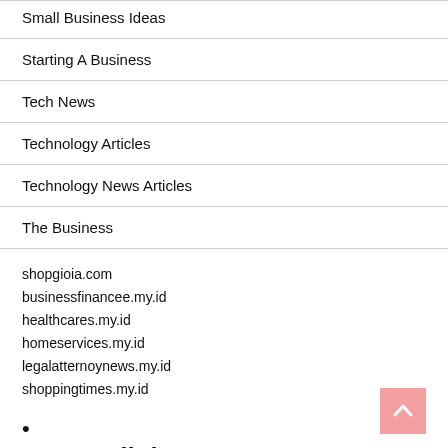Small Business Ideas
Starting A Business
Tech News
Technology Articles
Technology News Articles
The Business
shopgioia.com
businessfinancee.my.id
healthcares.my.id
homeservices.my.id
legalatternoynews.my.id
shoppingtimes.my.id
•
Partner links